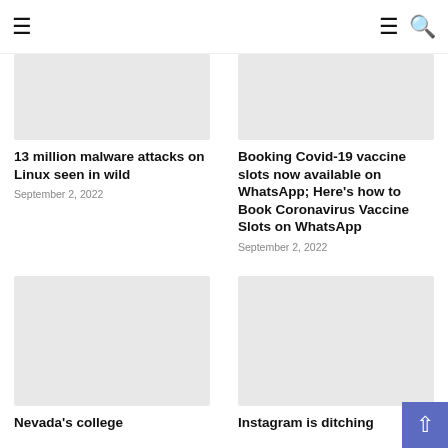☰  ☰ 🔍
[Figure (photo): Placeholder image for article about 13 million malware attacks on Linux]
13 million malware attacks on Linux seen in wild
September 2, 2022
[Figure (photo): Placeholder image for article about booking Covid-19 vaccine slots on WhatsApp]
Booking Covid-19 vaccine slots now available on WhatsApp; Here's how to Book Coronavirus Vaccine Slots on WhatsApp
September 2, 2022
[Figure (photo): Placeholder image for article about Nevada's college]
Nevada's college
[Figure (photo): Placeholder image for article about Instagram ditching]
Instagram is ditching